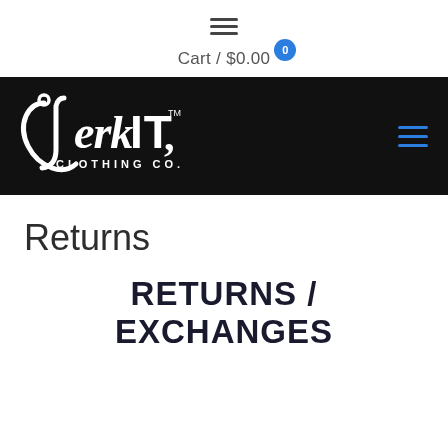≡ Cart / $0.00
[Figure (logo): Jerk IT Clothing Co. logo in white on black background with fishing hook motif]
Returns
RETURNS / EXCHANGES